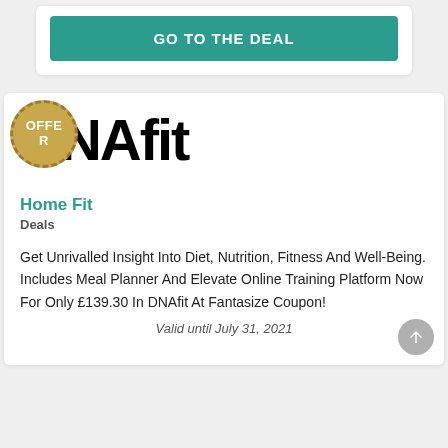GO TO THE DEAL
[Figure (logo): DNAfit brand logo in large bold black text]
Home Fit
Deals
Get Unrivalled Insight Into Diet, Nutrition, Fitness And Well-Being. Includes Meal Planner And Elevate Online Training Platform Now For Only £139.30 In DNAfit At Fantasize Coupon!
Valid until July 31, 2021